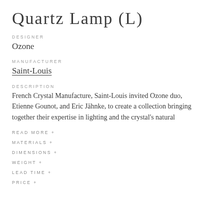Quartz Lamp (L)
DESIGNER
Ozone
MANUFACTURER
Saint-Louis
DESCRIPTION
French Crystal Manufacture, Saint-Louis invited Ozone duo, Etienne Gounot, and Eric Jähnke, to create a collection bringing together their expertise in lighting and the crystal's natural
READ MORE +
MATERIALS +
DIMENSIONS +
WEIGHT +
LEAD TIME +
PRICE +